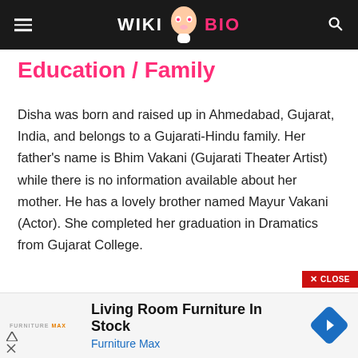WIKI BIO
Education / Family
Disha was born and raised up in Ahmedabad, Gujarat, India, and belongs to a Gujarati-Hindu family. Her father’s name is Bhim Vakani (Gujarati Theater Artist) while there is no information available about her mother. He has a lovely brother named Mayur Vakani (Actor). She completed her graduation in Dramatics from Gujarat College.
[Figure (infographic): Advertisement banner: Living Room Furniture In Stock - Furniture Max, with Furniture Max logo and a blue diamond-shaped navigation icon]